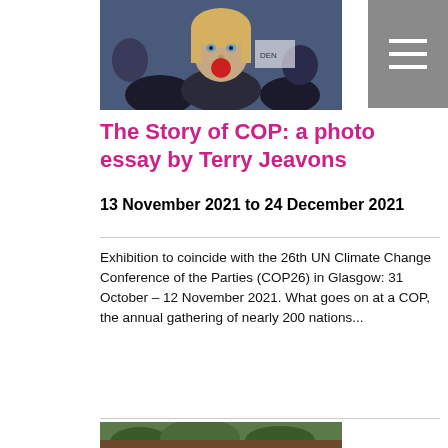[Figure (photo): Crowd of protesters at a climate event; foreground shows a young woman with a red circle over her mouth, suggesting silencing.]
The Story of COP: a photo essay by Terry Jeavons
13 November 2021 to 24 December 2021
Exhibition to coincide with the 26th UN Climate Change Conference of the Parties (COP26) in Glasgow: 31 October – 12 November 2021. What goes on at a COP, the annual gathering of nearly 200 nations...
[Figure (photo): Partial view of another photo at the bottom of the page, appears to show an outdoor/nature scene.]